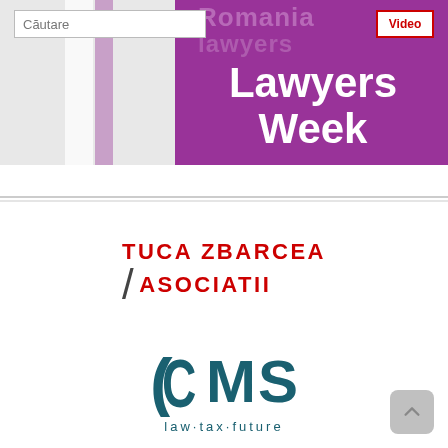[Figure (screenshot): Top banner showing a purple background with large white bold text 'Lawyers Week' and faded text 'Romania lawyers' behind it, with a gray left column with light and purple strips.]
Căutare
Video
[Figure (logo): Tuca Zbarcea & Asociatii law firm logo in bold red text with a diagonal slash mark]
[Figure (logo): CMS law firm logo in dark teal with tagline 'law·tax·future']